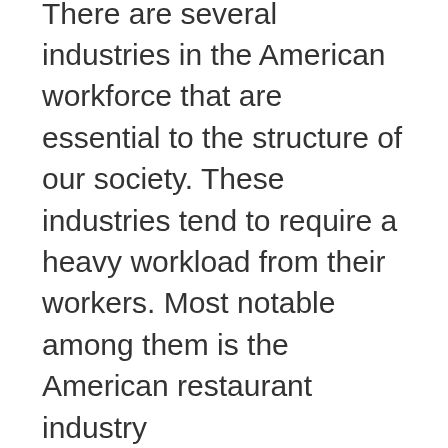There are several industries in the American workforce that are essential to the structure of our society. These industries tend to require a heavy workload from their workers. Most notable among them is the American restaurant industry